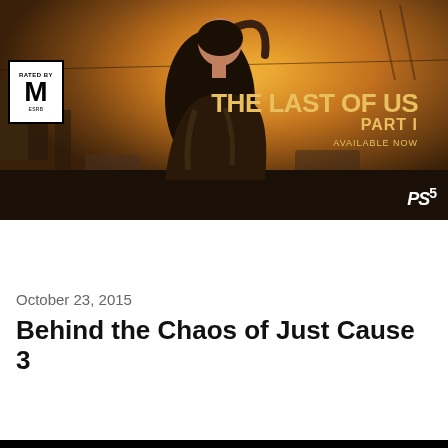[Figure (photo): The Last of Us Part I promotional banner showing a young woman's silhouette against a post-apocalyptic orange cityscape background, with ESRB M rating, game title in gold text, 'Available Now' tagline, and PS5 logo]
PlayStation.Blog
October 23, 2015
Behind the Chaos of Just Cause 3
14  0  21
[Figure (screenshot): Just Cause 3 Story Trailer promotional image showing the Just Cause 3 logo with a red '3', Story Trailer text underneath, set against a blue sky with explosion and aircraft in the background]